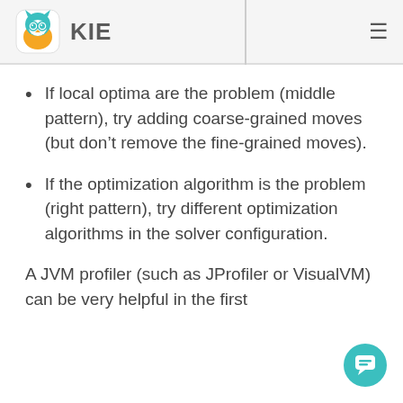KIE
If local optima are the problem (middle pattern), try adding coarse-grained moves (but don’t remove the fine-grained moves).
If the optimization algorithm is the problem (right pattern), try different optimization algorithms in the solver configuration.
A JVM profiler (such as JProfiler or VisualVM) can be very helpful in the first